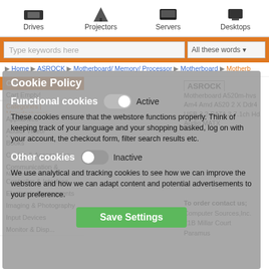[Figure (screenshot): Top navigation bar with category icons: Drives, Projectors, Servers, Desktops]
Type keywords here | All these words
Home ▶ ASROCK ▶ Motherboard/ Memory/ Processor ▶ Motherboard ▶ Motherb...
Cart
Cart Empty!
Categories | Manufacturers
Appliances
Audio/ Video/ Multimedia
Books
Cables & Accessories
Communication & Networking
Controller & Interface
Electronic Components
Imaging & Photography
Input Devices
Monitor & Disp...
ASROCK
Motherboard A520m-hvs Am4 Amd A520 2 X Ddr4 USB 3.2 SATA 3 7.1ch Hd Audio MATX
To order contact us;
Computer Sources,Inc.
21B Millar Court
Paramus
Cookie Policy
Functional cookies Active
These cookies ensure that the webstore functions properly. Think of keeping track of your language and your shopping basked, log on with your account, the checkout form, filter search results etc.
Other cookies Inactive
We use analytical and tracking cookies to see how we can improve the webstore and how we can adapt content and potential advertisements to your preference.
Save Settings